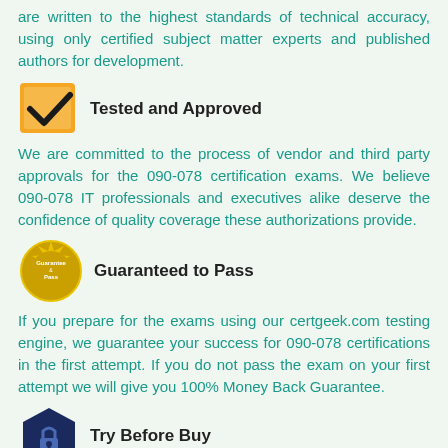are written to the highest standards of technical accuracy, using only certified subject matter experts and published authors for development.
[Figure (logo): Orange square with black checkmark - Tested and Approved badge]
Tested and Approved
We are committed to the process of vendor and third party approvals for the 090-078 certification exams. We believe 090-078 IT professionals and executives alike deserve the confidence of quality coverage these authorizations provide.
[Figure (logo): Gold circular seal badge - Guaranteed to Pass]
Guaranteed to Pass
If you prepare for the exams using our certgeek.com testing engine, we guarantee your success for 090-078 certifications in the first attempt. If you do not pass the exam on your first attempt we will give you 100% Money Back Guarantee.
[Figure (logo): Dark navy hexagon with padlock icon - Try Before Buy badge]
Try Before Buy
certgeek.com offers free demo of each product